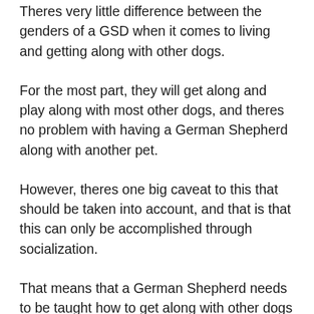Theres very little difference between the genders of a GSD when it comes to living and getting along with other dogs.
For the most part, they will get along and play along with most other dogs, and theres no problem with having a German Shepherd along with another pet.
However, theres one big caveat to this that should be taken into account, and that is that this can only be accomplished through socialization.
That means that a German Shepherd needs to be taught how to get along with other dogs if you want their relationship to be harmonious.
The earlier this is done, the better, and that also means that its best to get a German Shepherd as your first pet or to adopt one that you know is used to being around other